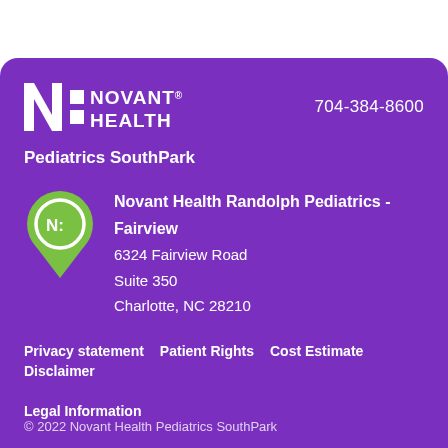[Figure (logo): Novant Health logo in white on purple background]
704-384-8600
Pediatrics SouthPark
[Figure (illustration): Green Novant Health map pin icon]
Novant Health Randolph Pediatrics - Fairview
6324 Fairview Road
Suite 350
Charlotte, NC 28210
Privacy statement   Patient Rights   Cost Estimate   Disclaimer
Legal Information
© 2022 Novant Health Pediatrics SouthPark